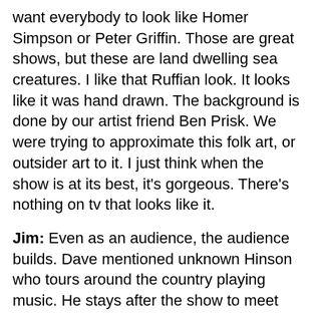want everybody to look like Homer Simpson or Peter Griffin. Those are great shows, but these are land dwelling sea creatures. I like that Ruffian look. It looks like it was hand drawn. The background is done by our artist friend Ben Prisk. We were trying to approximate this folk art, or outsider art to it. I just think when the show is at its best, it's gorgeous. There's nothing on tv that looks like it.
Jim: Even as an audience, the audience builds. Dave mentioned unknown Hinson who tours around the country playing music. He stays after the show to meet fans. He'll just report to us that his shows have gotten bigger and bigger and more people coming out and asking when the new season is coming out. Bobby Ellerbee, the voice of the Sheriff, lives in Winder, Georgia and he goes into Athens, Georgia where the University of Georgia is. He's a celebrity there. The fanbase is out there.
Dave:  We have more tattoos per capita as far as fanbase than